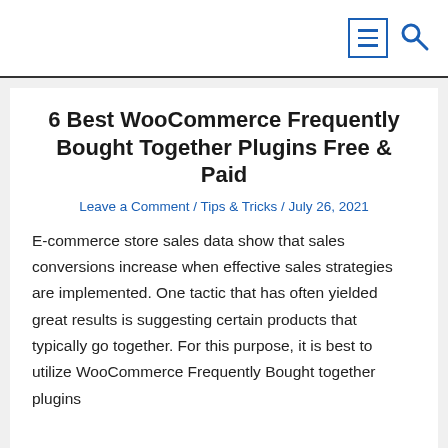[Menu icon] [Search icon]
6 Best WooCommerce Frequently Bought Together Plugins Free & Paid
Leave a Comment / Tips & Tricks / July 26, 2021
E-commerce store sales data show that sales conversions increase when effective sales strategies are implemented. One tactic that has often yielded great results is suggesting certain products that typically go together. For this purpose, it is best to utilize WooCommerce Frequently Bought together plugins